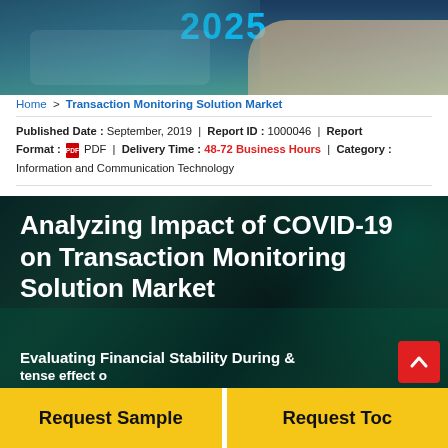[Figure (photo): Dark blue/teal banner with year '2025' in large cyan text at top, with a blurred background showing a person at a laptop]
Home > Transaction Monitoring Solution Market
Published Date : September, 2019  |  Report ID : 1000046  |  Report Format : PDF  |  Delivery Time : 48-72 Business Hours  |  Category : Information and Communication Technology
Analyzing Impact of COVID-19 on Transaction Monitoring Solution Market
Evaluating Financial Stability During &
tense effect o